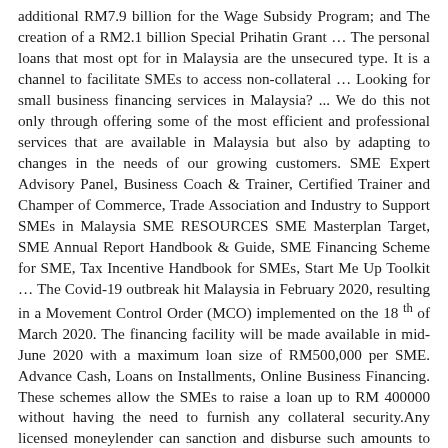additional RM7.9 billion for the Wage Subsidy Program; and The creation of a RM2.1 billion Special Prihatin Grant … The personal loans that most opt for in Malaysia are the unsecured type. It is a channel to facilitate SMEs to access non-collateral … Looking for small business financing services in Malaysia? ... We do this not only through offering some of the most efficient and professional services that are available in Malaysia but also by adapting to changes in the needs of our growing customers. SME Expert Advisory Panel, Business Coach & Trainer, Certified Trainer and Champer of Commerce, Trade Association and Industry to Support SMEs in Malaysia SME RESOURCES SME Masterplan Target, SME Annual Report Handbook & Guide, SME Financing Scheme for SME, Tax Incentive Handbook for SMEs, Start Me Up Toolkit … The Covid-19 outbreak hit Malaysia in February 2020, resulting in a Movement Control Order (MCO) implemented on the 18 th of March 2020. The financing facility will be made available in mid-June 2020 with a maximum loan size of RM500,000 per SME. Advance Cash, Loans on Installments, Online Business Financing. These schemes allow the SMEs to raise a loan up to RM 400000 without having the need to furnish any collateral security.Any licensed moneylender can sanction and disburse such amounts to the SME sector.. We, at First One Sdn Bhd, have small business loan schemes where we can sanction loan … Besides loan moratorium, banks are offering an additional RM2 billion under the Penjana SME Financing to assist SMEs adversely impacted by